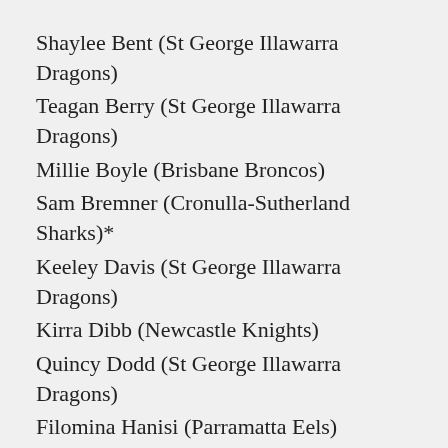Shaylee Bent (St George Illawarra Dragons)
Teagan Berry (St George Illawarra Dragons)
Millie Boyle (Brisbane Broncos)
Sam Bremner (Cronulla-Sutherland Sharks)*
Keeley Davis (St George Illawarra Dragons)
Kirra Dibb (Newcastle Knights)
Quincy Dodd (St George Illawarra Dragons)
Filomina Hanisi (Parramatta Eels)
Talei Holmes (St George Illawarra Dragons)